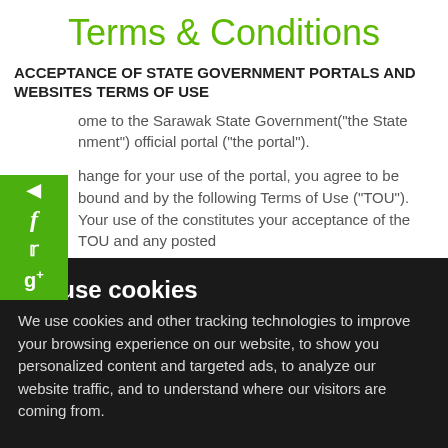Terms & Conditions
ACCEPTANCE OF STATE GOVERNMENT PORTALS AND WEBSITES TERMS OF USE
Welcome to the Sarawak State Government("the State Government") official portal ("the portal").
In exchange for your use of the portal, you agree to be bound and abide by the following Terms of Use ("TOU"). Your use of the portal constitutes your acceptance of the TOU and any posted
We use cookies
We use cookies and other tracking technologies to improve your browsing experience on our website, to show you personalized content and targeted ads, to analyze our website traffic, and to understand where our visitors are coming from.